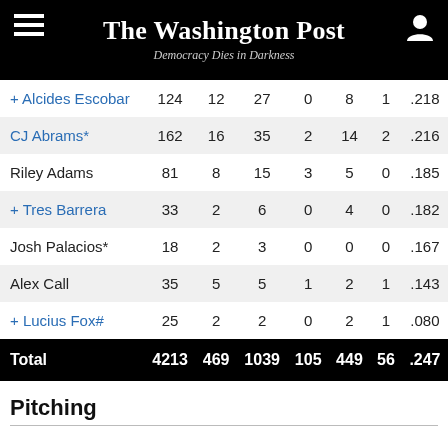The Washington Post — Democracy Dies in Darkness
| Player | AB | R | H | HR | RBI | SB | AVG |
| --- | --- | --- | --- | --- | --- | --- | --- |
| + Alcides Escobar | 124 | 12 | 27 | 0 | 8 | 1 | .218 |
| CJ Abrams* | 162 | 16 | 35 | 2 | 14 | 2 | .216 |
| Riley Adams | 81 | 8 | 15 | 3 | 5 | 0 | .185 |
| + Tres Barrera | 33 | 2 | 6 | 0 | 4 | 0 | .182 |
| Josh Palacios* | 18 | 2 | 3 | 0 | 0 | 0 | .167 |
| Alex Call | 35 | 5 | 5 | 1 | 2 | 1 | .143 |
| + Lucius Fox# | 25 | 2 | 2 | 0 | 2 | 1 | .080 |
| Total | 4213 | 469 | 1039 | 105 | 449 | 56 | .247 |
Pitching